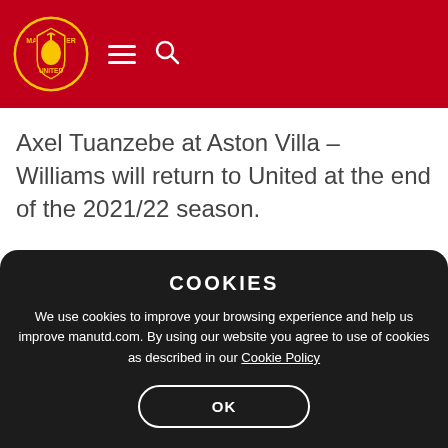Manchester United header with logo, hamburger menu, and search icon
Axel Tuanzebe at Aston Villa – Williams will return to United at the end of the 2021/22 season.
Best of luck, Brandon.
COOKIES
We use cookies to improve your browsing experience and help us improve manutd.com. By using our website you agree to use of cookies as described in our Cookie Policy
OK